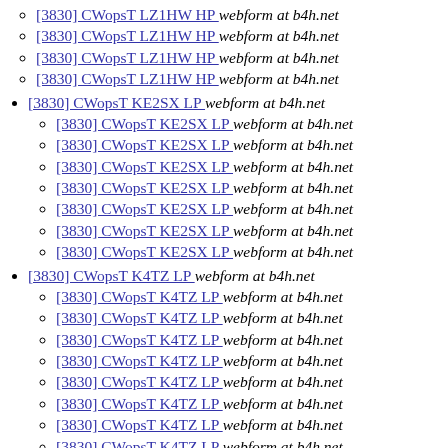[3830] CWopsT LZ1HW HP  webform at b4h.net
[3830] CWopsT LZ1HW HP  webform at b4h.net
[3830] CWopsT LZ1HW HP  webform at b4h.net
[3830] CWopsT LZ1HW HP  webform at b4h.net
[3830] CWopsT KE2SX LP  webform at b4h.net
[3830] CWopsT KE2SX LP  webform at b4h.net
[3830] CWopsT KE2SX LP  webform at b4h.net
[3830] CWopsT KE2SX LP  webform at b4h.net
[3830] CWopsT KE2SX LP  webform at b4h.net
[3830] CWopsT KE2SX LP  webform at b4h.net
[3830] CWopsT KE2SX LP  webform at b4h.net
[3830] CWopsT KE2SX LP  webform at b4h.net
[3830] CWopsT K4TZ LP  webform at b4h.net
[3830] CWopsT K4TZ LP  webform at b4h.net
[3830] CWopsT K4TZ LP  webform at b4h.net
[3830] CWopsT K4TZ LP  webform at b4h.net
[3830] CWopsT K4TZ LP  webform at b4h.net
[3830] CWopsT K4TZ LP  webform at b4h.net
[3830] CWopsT K4TZ LP  webform at b4h.net
[3830] CWopsT K4TZ LP  webform at b4h.net
[3830] CWopsT K4TZ LP  webform at b4h.net
[3830] CWopsT K4TZ LP  webform at b4h.net
[3830] CWopsT K4TZ LP  webform at b4h.net
[3830] CWopsT K4TZ LP  webform at b4h.net
[3830] CWopsT K4TZ LP  webform at b4h.net